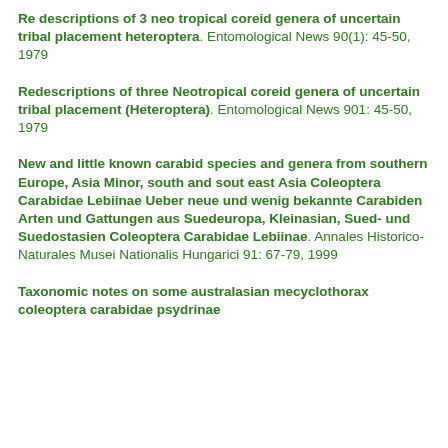Re descriptions of 3 neo tropical coreid genera of uncertain tribal placement heteroptera. Entomological News 90(1): 45-50, 1979
Redescriptions of three Neotropical coreid genera of uncertain tribal placement (Heteroptera). Entomological News 901: 45-50, 1979
New and little known carabid species and genera from southern Europe, Asia Minor, south and sout east Asia Coleoptera Carabidae Lebiinae Ueber neue und wenig bekannte Carabiden Arten und Gattungen aus Suedeuropa, Kleinasian, Sued- und Suedostasien Coleoptera Carabidae Lebiinae. Annales Historico-Naturales Musei Nationalis Hungarici 91: 67-79, 1999
Taxonomic notes on some australasian mecyclothorax coleoptera carabidae psydrinae